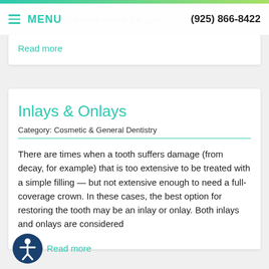MENU  (925) 866-8422
Read more
Inlays & Onlays
Category: Cosmetic & General Dentistry
There are times when a tooth suffers damage (from decay, for example) that is too extensive to be treated with a simple filling — but not extensive enough to need a full-coverage crown. In these cases, the best option for restoring the tooth may be an inlay or onlay. Both inlays and onlays are considered
Read more